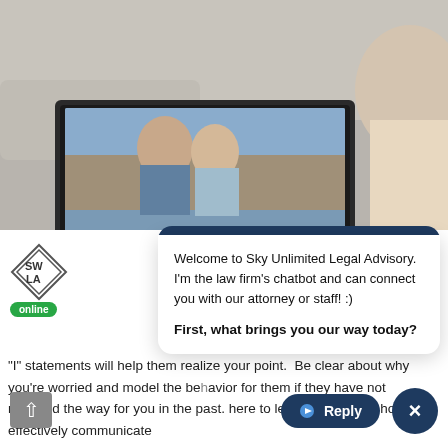[Figure (photo): A young woman lying on a couch using a laptop for a video call with an elderly couple. The laptop screen shows the older couple smiling. The woman's hands are on the keyboard.]
[Figure (screenshot): A chatbot popup from Sky Unlimited Legal Advisory with a dark navy header bar, a diamond-shaped logo (SW/LA), a green 'online' badge, and two chatbot messages.]
Welcome to Sky Unlimited Legal Advisory. I'm the law firm's chatbot and can connect you with our attorney or staff! :)
First, what brings you our way today?
"I" statements will help them realize your point.  Be clear about why you're worried and model the behavior for them if they have not modeled the way for you in the past. here to learn more about how to effectively communicate